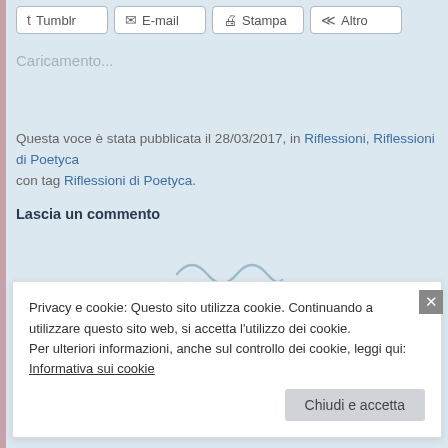Tumblr | E-mail | Stampa | Altro
Caricamento...
Questa voce è stata pubblicata il 28/03/2017, in Riflessioni, Riflessioni di Poetyca con tag Riflessioni di Poetyca.
Lascia un commento
[Figure (illustration): Decorative tilde/wave ornament in light blue-grey color]
Privacy e cookie: Questo sito utilizza cookie. Continuando a utilizzare questo sito web, si accetta l'utilizzo dei cookie. Per ulteriori informazioni, anche sul controllo dei cookie, leggi qui: Informativa sui cookie
Chiudi e accetta